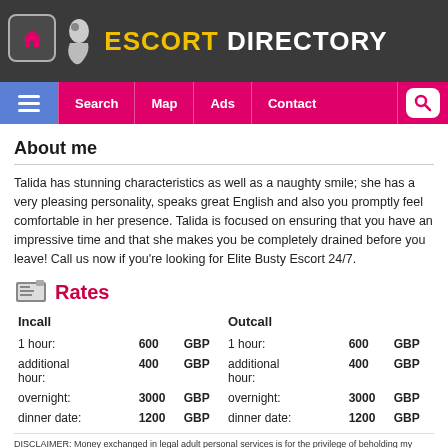ESCORT DIRECTORY
About me
Talida has stunning characteristics as well as a naughty smile; she has a very pleasing personality, speaks great English and also you promptly feel comfortable in her presence. Talida is focused on ensuring that you have an impressive time and that she makes you be completely drained before you leave! Call us now if you're looking for Elite Busty Escort 24/7.
Rates
| Incall |  |  | Outcall |  |  |
| --- | --- | --- | --- | --- | --- |
| 1 hour: | 600 | GBP | 1 hour: | 600 | GBP |
| additional hour: | 400 | GBP | additional hour: | 400 | GBP |
| overnight: | 3000 | GBP | overnight: | 3000 | GBP |
| dinner date: | 1200 | GBP | dinner date: | 1200 | GBP |
DISCLAIMER: Money exchanged in legal adult personal services is for the privilege of beholding my beautiful presence in person only and is simply for the time expended in the delivery of lawful entertainment and companionship. Anything